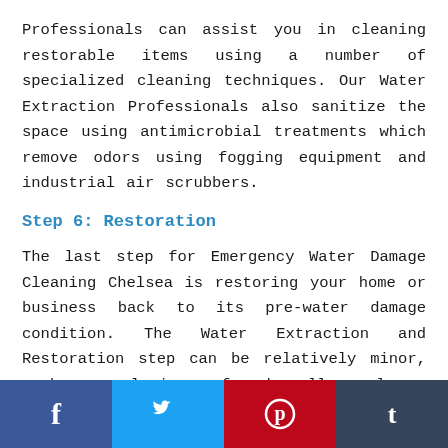Professionals can assist you in cleaning restorable items using a number of specialized cleaning techniques. Our Water Extraction Professionals also sanitize the space using antimicrobial treatments which remove odors using fogging equipment and industrial air scrubbers.
Step 6: Restoration
The last step for Emergency Water Damage Cleaning Chelsea is restoring your home or business back to its pre-water damage condition. The Water Extraction and Restoration step can be relatively minor, such as replacing a few drywall panels or could include major reconstruction of a home or business.
[Figure (infographic): Social media share buttons: Facebook (blue), Twitter (light blue), Pinterest (red), Tumblr (dark blue)]